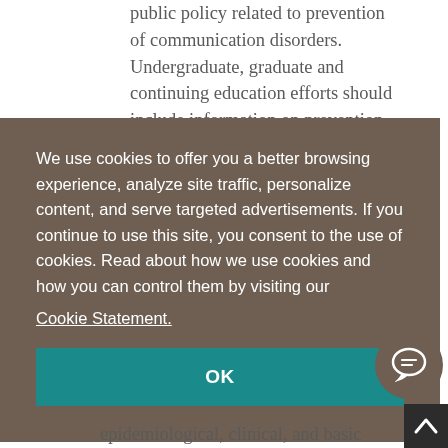public policy related to prevention of communication disorders. Undergraduate, graduate and continuing education efforts should include information on prevention...
[Figure (screenshot): Cookie consent overlay with brownish-gray background. Text reads: 'We use cookies to offer you a better browsing experience, analyze site traffic, personalize content, and serve targeted advertisements. If you continue to use this site, you consent to the use of cookies. Read about how we use cookies and how you can control them by visiting our Cookie Statement.' A teal OK button is shown below.]
epidemiological, clinical, and basic